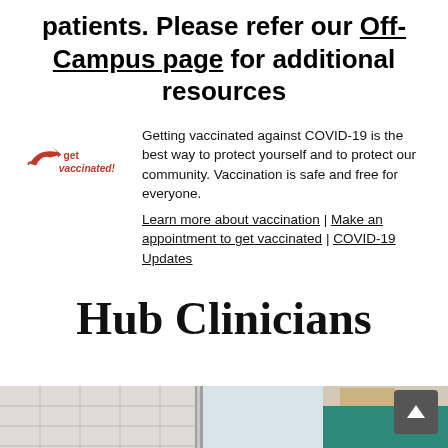patients. Please refer our Off-Campus page for additional resources
[Figure (logo): Get vaccinated logo with red bird/arrow icon and red text 'get vaccinated!']
Getting vaccinated against COVID-19 is the best way to protect yourself and to protect our community. Vaccination is safe and free for everyone. Learn more about vaccination | Make an appointment to get vaccinated | COVID-19 Updates
Hub Clinicians
[Figure (photo): Partial photo of a clinic or building interior/exterior, showing tiled walls and a teal surface at the bottom right]